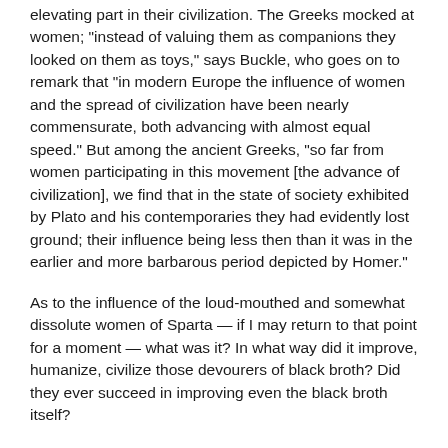elevating part in their civilization. The Greeks mocked at women; "instead of valuing them as companions they looked on them as toys," says Buckle, who goes on to remark that "in modern Europe the influence of women and the spread of civilization have been nearly commensurate, both advancing with almost equal speed." But among the ancient Greeks, "so far from women participating in this movement [the advance of civilization], we find that in the state of society exhibited by Plato and his contemporaries they had evidently lost ground; their influence being less then than it was in the earlier and more barbarous period depicted by Homer."
As to the influence of the loud-mouthed and somewhat dissolute women of Sparta — if I may return to that point for a moment — what was it? In what way did it improve, humanize, civilize those devourers of black broth? Did they ever succeed in improving even the black broth itself?
Women have made modern civilization. Without them society could not endure: without the influence of their pure and correct instincts all would go to wreck. That is the corrective — not the only one, but certainly the most powerful, for all the evils our civilization brings in its train. Woman is the conservative element in modern society. That country which has been called the modern Sodom — if to-day